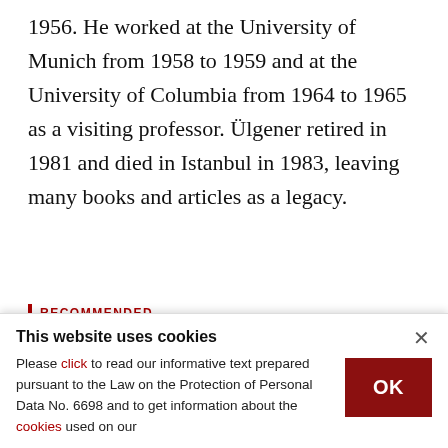1956. He worked at the University of Munich from 1958 to 1959 and at the University of Columbia from 1964 to 1965 as a visiting professor. Ülgener retired in 1981 and died in Istanbul in 1983, leaving many books and articles as a legacy.
RECOMMENDED
[Figure (other): Gray placeholder image block for recommended content]
This website uses cookies
Please click to read our informative text prepared pursuant to the Law on the Protection of Personal Data No. 6698 and to get information about the cookies used on our